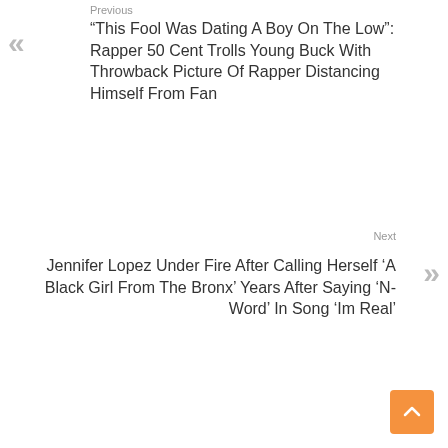Previous
“This Fool Was Dating A Boy On The Low”: Rapper 50 Cent Trolls Young Buck With Throwback Picture Of Rapper Distancing Himself From Fan
Next
Jennifer Lopez Under Fire After Calling Herself ‘A Black Girl From The Bronx’ Years After Saying ‘N-Word’ In Song ‘Im Real’